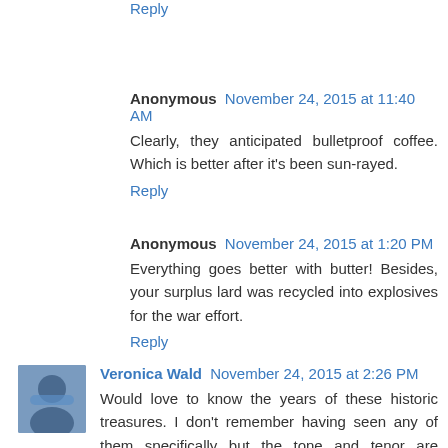Reply
Anonymous  November 24, 2015 at 11:40 AM
Clearly, they anticipated bulletproof coffee. Which is better after it's been sun-rayed.
Reply
Anonymous  November 24, 2015 at 1:20 PM
Everything goes better with butter! Besides, your surplus lard was recycled into explosives for the war effort.
Reply
Veronica Wald  November 24, 2015 at 2:26 PM
Would love to know the years of these historic treasures. I don't remember having seen any of them specifically but the tone and tenor are familiar to me (being of the age to have signed up for Medicare, for whatever that turns out to be worth).